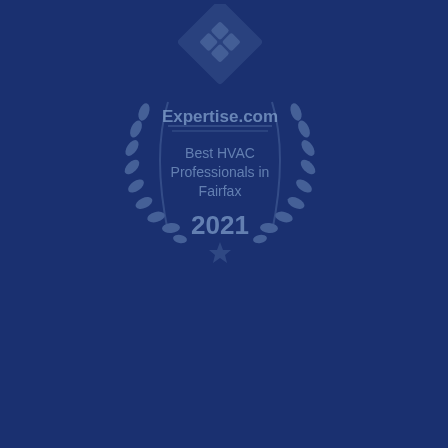[Figure (logo): Expertise.com award badge: Best HVAC Professionals in Fairfax 2021, displayed as a circular laurel wreath emblem with a diamond-pattern logo at top, on a dark navy blue background. The badge is rendered in a muted blue-grey color matching the background.]